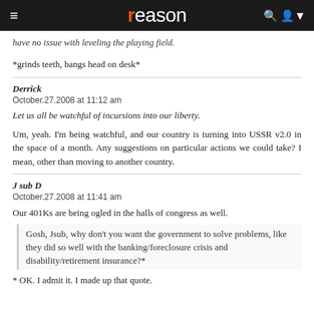reason
have no issue with leveling the playing field.
*grinds teeth, bangs head on desk*
Derrick
October.27.2008 at 11:12 am
Let us all be watchful of incursions into our liberty.
Um, yeah. I'm being watchful, and our country is turning into USSR v2.0 in the space of a month. Any suggestions on particular actions we could take? I mean, other than moving to another country.
J sub D
October.27.2008 at 11:41 am
Our 401Ks are being ogled in the halls of congress as well.
Gosh, Jsub, why don't you want the government to solve problems, like they did so well with the banking/foreclosure crisis and disability/retirement insurance?*
* OK. I admit it. I made up that quote.